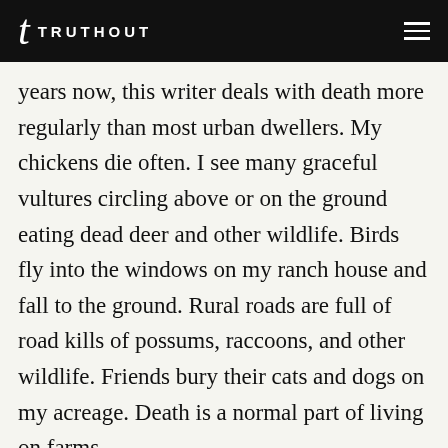TRUTHOUT
years now, this writer deals with death more regularly than most urban dwellers. My chickens die often. I see many graceful vultures circling above or on the ground eating dead deer and other wildlife. Birds fly into the windows on my ranch house and fall to the ground. Rural roads are full of road kills of possums, raccoons, and other wildlife. Friends bury their cats and dogs on my acreage. Death is a normal part of living on farms.
I watch many things decay on my compost pile